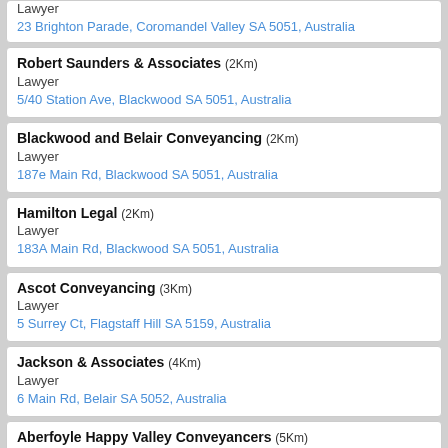Lawyer
23 Brighton Parade, Coromandel Valley SA 5051, Australia
Robert Saunders & Associates (2Km)
Lawyer
5/40 Station Ave, Blackwood SA 5051, Australia
Blackwood and Belair Conveyancing (2Km)
Lawyer
187e Main Rd, Blackwood SA 5051, Australia
Hamilton Legal (2Km)
Lawyer
183A Main Rd, Blackwood SA 5051, Australia
Ascot Conveyancing (3Km)
Lawyer
5 Surrey Ct, Flagstaff Hill SA 5159, Australia
Jackson & Associates (4Km)
Lawyer
6 Main Rd, Belair SA 5052, Australia
Aberfoyle Happy Valley Conveyancers (5Km)
Lawyer
Shop 15, Hub Shopping Centre, 130-152 Hub Dr, Aberfoyle Park SA 5159, Australia
Stokes Legal - Lawyers and Solicitors - Torrens Park (5Km)
Lawyer
142 Springbank Rd, Torrens Park SA 5062, Australia